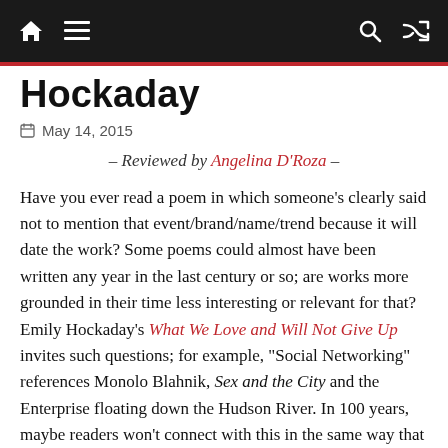Navigation bar with home, menu, search, and shuffle icons
Hockaday
May 14, 2015
– Reviewed by Angelina D'Roza –
Have you ever read a poem in which someone's clearly said not to mention that event/brand/name/trend because it will date the work? Some poems could almost have been written any year in the last century or so; are works more grounded in their time less interesting or relevant for that? Emily Hockaday's What We Love and Will Not Give Up invites such questions; for example, "Social Networking" references Monolo Blahnik, Sex and the City and the Enterprise floating down the Hudson River. In 100 years, maybe readers won't connect with this in the same way that I do (then again, neither could I, could I). Are we, er, all writers of…